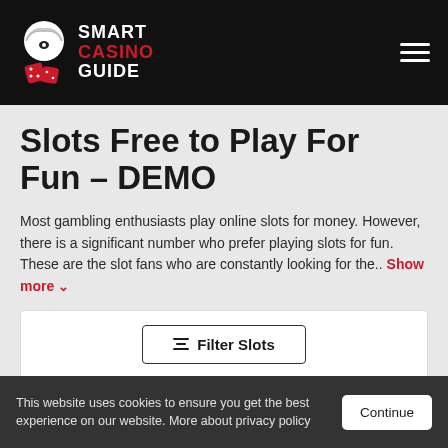Smart Casino Guide
Slots Free to Play For Fun – DEMO
Most gambling enthusiasts play online slots for money. However, there is a significant number who prefer playing slots for fun. These are the slot fans who are constantly looking for the.. Show more
[Figure (other): Filter Slots button inside a white rounded box]
This website uses cookies to ensure you get the best experience on our website. More about privacy policy